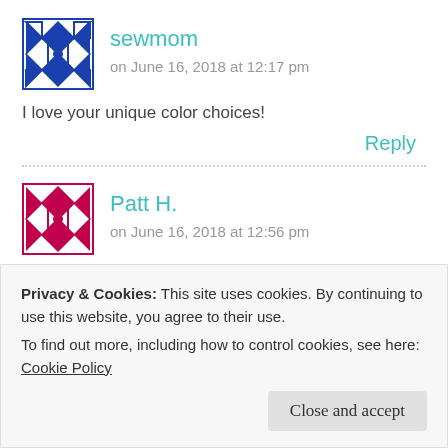[Figure (illustration): Blue geometric quilt-pattern avatar icon]
sewmom
on June 16, 2018 at 12:17 pm
I love your unique color choices!
Reply
[Figure (illustration): Red geometric quilt-pattern avatar icon]
Patt H.
on June 16, 2018 at 12:56 pm
Love your gorgeous colored sweet peas & beautiful design!
Privacy & Cookies: This site uses cookies. By continuing to use this website, you agree to their use.
To find out more, including how to control cookies, see here: Cookie Policy
Close and accept